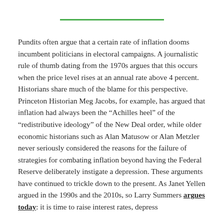Pundits often argue that a certain rate of inflation dooms incumbent politicians in electoral campaigns. A journalistic rule of thumb dating from the 1970s argues that this occurs when the price level rises at an annual rate above 4 percent. Historians share much of the blame for this perspective. Princeton Historian Meg Jacobs, for example, has argued that inflation had always been the “Achilles heel” of the “redistributive ideology” of the New Deal order, while older economic historians such as Alan Matusow or Alan Metzler never seriously considered the reasons for the failure of strategies for combating inflation beyond having the Federal Reserve deliberately instigate a depression. These arguments have continued to trickle down to the present. As Janet Yellen argued in the 1990s and the 2010s, so Larry Summers argues today: it is time to raise interest rates, depress